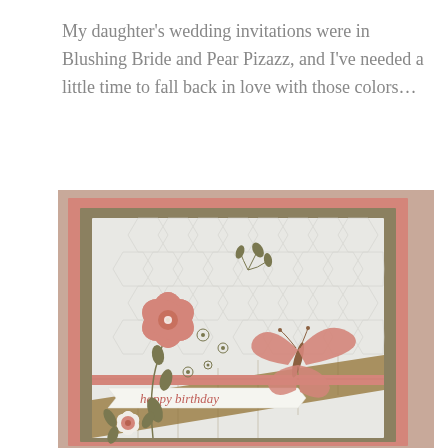My daughter's wedding invitations were in Blushing Bride and Pear Pizazz, and I've needed a little time to fall back in love with those colors...
[Figure (photo): A handmade birthday card featuring Blushing Bride (pink) and Pear Pizazz (olive/khaki) colors. The card has a pink outer border, olive mat, and white embossed honeycomb-patterned panel. Decorations include a large pink flower with rhinestone center, olive stamped floral sprigs and small flowers, a 3D pink butterfly, a pink ribbon strip, a 'happy birthday' sentiment banner in pink script on white, a burlap/kraft diagonal strip, and a small white flower with pink brad at the bottom. The background of the photo shows a pinkish-tan surface.]